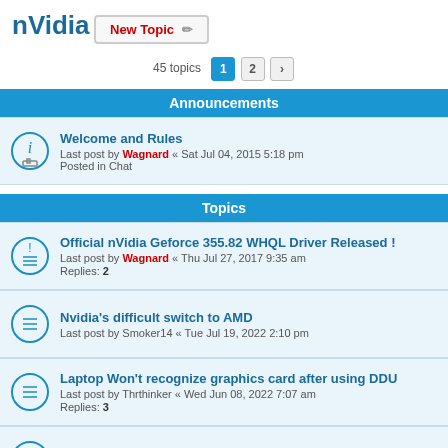nVidia
New Topic
45 topics  1  2  >
Announcements
Welcome and Rules
Last post by Wagnard « Sat Jul 04, 2015 5:18 pm
Posted in Chat
Topics
Official nVidia Geforce 355.82 WHQL Driver Released !
Last post by Wagnard « Thu Jul 27, 2017 9:35 am
Replies: 2
Nvidia's difficult switch to AMD
Last post by Smoker14 « Tue Jul 19, 2022 2:10 pm
Laptop Won't recognize graphics card after using DDU
Last post by Thrthinker « Wed Jun 08, 2022 7:07 am
Replies: 3
Nvidia Issue with Lenovo Yoga 730-15IKB
Last post by fuiitora41 « Fri May 13, 2022 3:18 am